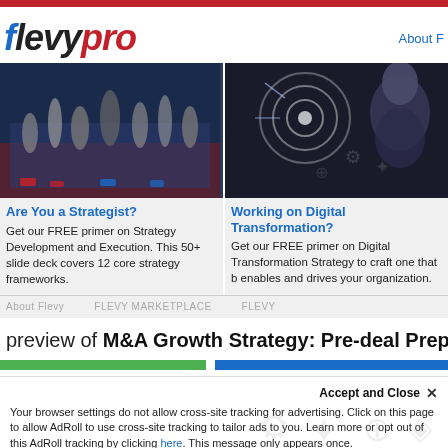flevypro
About F
[Figure (photo): Chess pieces on a board with red and blue lighting]
[Figure (photo): Woman looking at glowing digital target/bullseye icons]
Are You a Strategist?
Get our FREE primer on Strategy Development and Execution. This 50+ slide deck covers 12 core strategy frameworks.
Working on Digital Transformation?
Get our FREE primer on Digital Transformation Strategy to craft one that b enables and drives your organization.
About Flevy   FLEVY MARKETPLACE   FLEVY
preview of M&A Growth Strategy: Pre-deal Prepa
Accept and Close ✕
Your browser settings do not allow cross-site tracking for advertising. Click on this page to allow AdRoll to use cross-site tracking to tailor ads to you. Learn more or opt out of this AdRoll tracking by clicking here. This message only appears once.